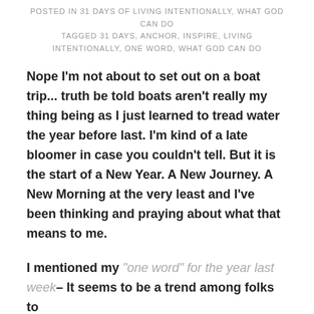POSTED IN 31 DAYS OF LIVING INTENTIONALLY, WHAT GOD CAN DO
TAGGED 31 DAYS, ANCHOR, INSPIRE, LIVING INTENTIONALLY, ONE WORD, WHAT GOD CAN DO
Nope I'm not about to set out on a boat trip... truth be told boats aren't really my thing being as I just learned to tread water the year before last. I'm kind of a late bloomer in case you couldn't tell. But it is the start of a New Year. A New Journey. A New Morning at the very least and I've been thinking and praying about what that means to me.
I mentioned my "one word" for the year last week– It seems to be a trend among folks to